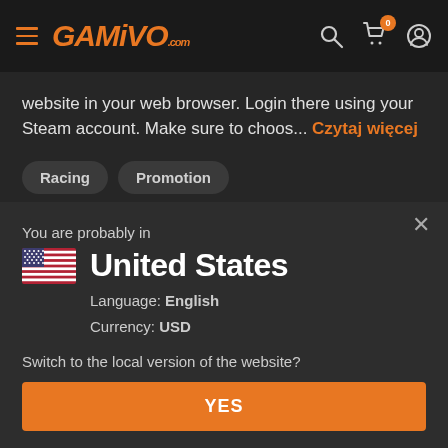GAMIVO.com navigation bar
website in your web browser. Login there using your Steam account. Make sure to choos... Czytaj więcej
Racing
Promotion
You are probably in
United States
Language: English
Currency: USD
Switch to the local version of the website?
YES